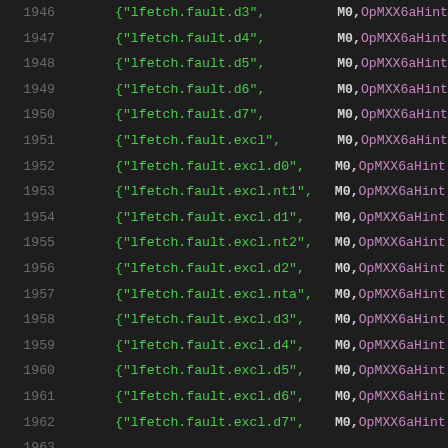Source code listing lines 1946-1967, showing lfetch fault and count instruction table entries with M0 and OpMXX6aHint / OpMXY1X6aHint operands